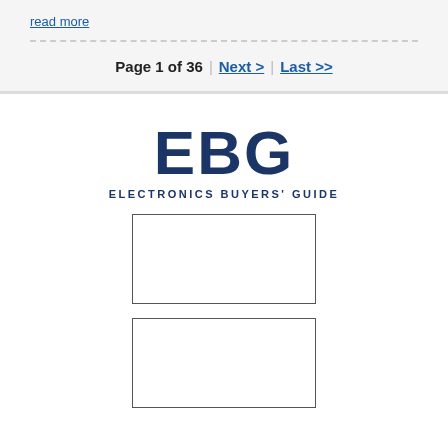read more
Page 1 of 36  Next >  Last >>
[Figure (logo): EBG Electronics Buyers' Guide logo with large bold EBG text and subtitle]
[Figure (other): Empty advertisement box 1]
[Figure (other): Empty advertisement box 2]